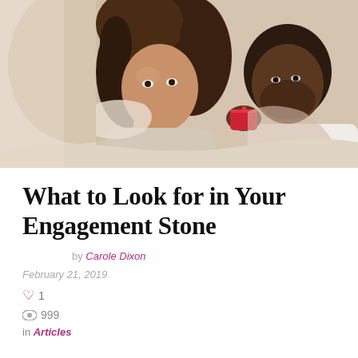[Figure (photo): A couple sharing a romantic moment, a man holding a red ring box toward a woman who looks delighted, both wrapped in cozy blankets near a window]
What to Look for in Your Engagement Stone
by Carole Dixon
February 21, 2019
♡ 1
👁 999
in Articles